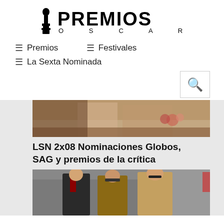[Figure (logo): Premios Oscar logo with Oscar statuette silhouette and text PREMIOS OSCAR]
≡ Premios
≡ Festivales
≡ La Sexta Nominada
[Figure (photo): Woman in beige dress leaning on a bar counter with flowers in background]
LSN 2x08 Nominaciones Globos, SAG y premios de la crítica
[Figure (photo): Three people walking on a street, man in dark suit with red tie, woman in sunglasses with brown coat, man in tan coat]